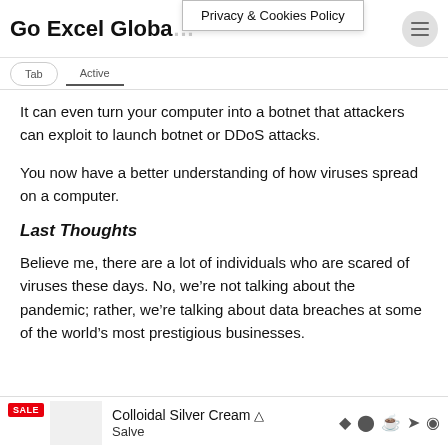Go Excel Global
Privacy & Cookies Policy
It can even turn your computer into a botnet that attackers can exploit to launch botnet or DDoS attacks.
You now have a better understanding of how viruses spread on a computer.
Last Thoughts
Believe me, there are a lot of individuals who are scared of viruses these days. No, we're not talking about the pandemic; rather, we're talking about data breaches at some of the world's most prestigious businesses.
Colloidal Silver Cream Salve